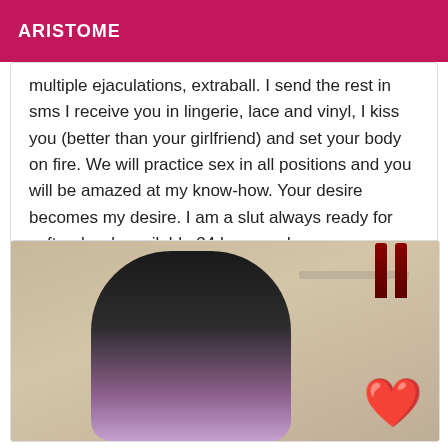ARISTOME
multiple ejaculations, extraball. I send the rest in sms I receive you in lingerie, lace and vinyl, I kiss you (better than your girlfriend) and set your body on fire. We will practice sex in all positions and you will be amazed at my know-how. Your desire becomes my desire. I am a slut always ready for soft or hard, available 24 hours a day.
[Figure (photo): Photo of a woman in black leather corset top and fishnet stockings posing in a room with wine bottles on a shelf. A red heart emoji is visible in the bottom right corner.]